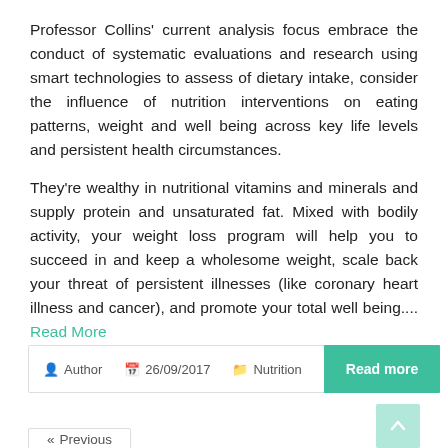Professor Collins' current analysis focus embrace the conduct of systematic evaluations and research using smart technologies to assess of dietary intake, consider the influence of nutrition interventions on eating patterns, weight and well being across key life levels and persistent health circumstances.
They're wealthy in nutritional vitamins and minerals and supply protein and unsaturated fat. Mixed with bodily activity, your weight loss program will help you to succeed in and keep a wholesome weight, scale back your threat of persistent illnesses (like coronary heart illness and cancer), and promote your total well being.... Read More
| Author | Date | Category | Action |
| --- | --- | --- | --- |
| Author | 26/09/2017 | Nutrition | Read more |
« Previous